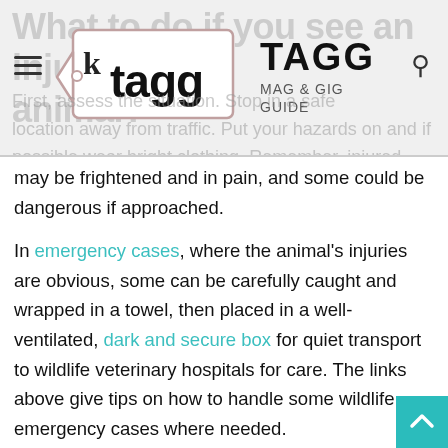What to do if you see an injured animal? — TAGG MAG & GIG GUIDE
[Figure (logo): TAGG Mag & Gig Guide logo with a tag shape containing the word 'tagg' and bold text TAGG / MAG & GIG GUIDE to the right]
First, assess the situation. Stop in a safe location away from traffic. Put your hazards on and if possible wear bright clothing. Remember, injured animals may be frightened and in pain, and some could be dangerous if approached.
In emergency cases, where the animal's injuries are obvious, some can be carefully caught and wrapped in a towel, then placed in a well-ventilated, dark and secure box for quiet transport to wildlife veterinary hospitals for care. The links above give tips on how to handle some wildlife emergency cases where needed.